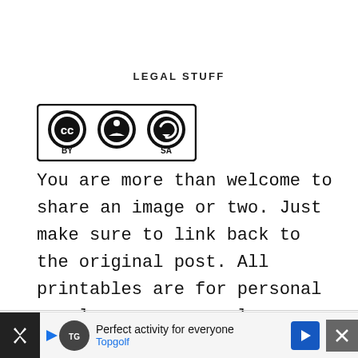LEGAL STUFF
[Figure (logo): Creative Commons CC BY SA license badge — black and white icons showing CC, BY, and SA symbols in a rectangular border]
You are more than welcome to share an image or two. Just make sure to link back to the original post. All printables are for personal or classroom use only.
This site uses Amazon Affiliate links. I make
[Figure (infographic): Advertisement banner: Perfect activity for everyone — Topgolf]